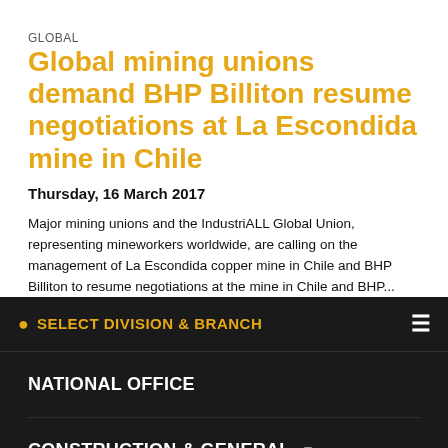GLOBAL
Global mining unions demand BHP Billiton resume negotiations at La Escondida mine in Chile
Thursday, 16 March 2017
Major mining unions and the IndustriALL Global Union, representing mineworkers worldwide, are calling on the management of La Escondida copper mine in Chile and BHP Billiton to resume negotiations at the mine in Chile and BHP...
SELECT DIVISION & BRANCH
NATIONAL OFFICE
CONSTRUCTION & GENERAL
MINING & ENERGY
MANUFACTURING
MARITIME